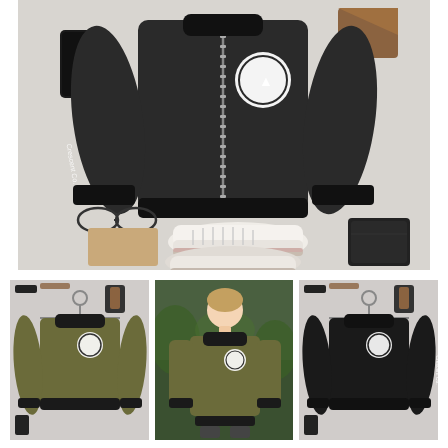[Figure (photo): Flat lay product photo of a dark charcoal zip-up bomber jacket with a white circular logo on the chest and white text on the left sleeve, surrounded by lifestyle accessories: black phone case, glasses, brown wallet/paper, white sneakers, black leather wallet on a light gray background.]
[Figure (photo): Product thumbnail of an olive/army green bomber jacket with white circular logo on chest and black cuffs/collar, hanging on a white hanger against a flat lay background.]
[Figure (photo): Lifestyle photo of a young man wearing the olive/green bomber jacket with white circular logo, standing outdoors in front of green foliage.]
[Figure (photo): Product thumbnail of a black bomber jacket with white circular logo on chest and black cuffs/collar, hanging on a white hanger against a flat lay background.]